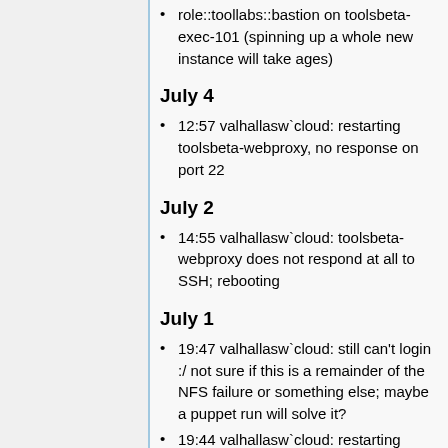role::toollabs::bastion on toolsbeta-exec-101 (spinning up a whole new instance will take ages)
July 4
12:57 valhallasw`cloud: restarting toolsbeta-webproxy, no response on port 22
July 2
14:55 valhallasw`cloud: toolsbeta-webproxy does not respond at all to SSH; rebooting
July 1
19:47 valhallasw`cloud: still can't login :/ not sure if this is a remainder of the NFS failure or something else; maybe a puppet run will solve it?
19:44 valhallasw`cloud: restarting